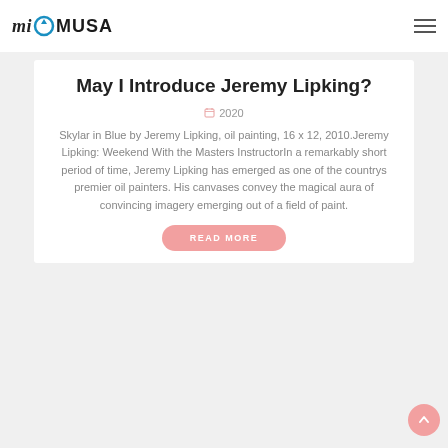mi MUSA
May I Introduce Jeremy Lipking?
2020
Skylar in Blue by Jeremy Lipking, oil painting, 16 x 12, 2010.Jeremy Lipking: Weekend With the Masters InstructorIn a remarkably short period of time, Jeremy Lipking has emerged as one of the countrys premier oil painters. His canvases convey the magical aura of convincing imagery emerging out of a field of paint.
READ MORE